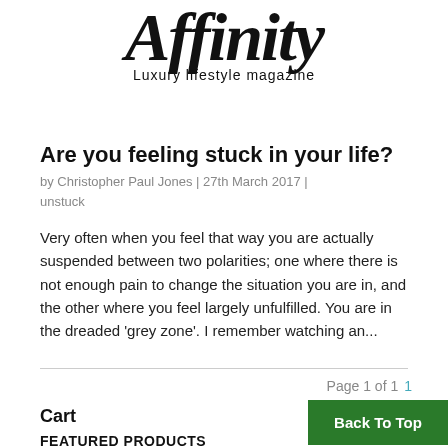Affinity – Luxury lifestyle magazine
Are you feeling stuck in your life?
by Christopher Paul Jones | 27th March 2017 | unstuck
Very often when you feel that way you are actually suspended between two polarities; one where there is not enough pain to change the situation you are in, and the other where you feel largely unfulfilled. You are in the dreaded 'grey zone'. I remember watching an...
Page 1 of 1   1
Cart
Back To Top
FEATURED PRODUCTS